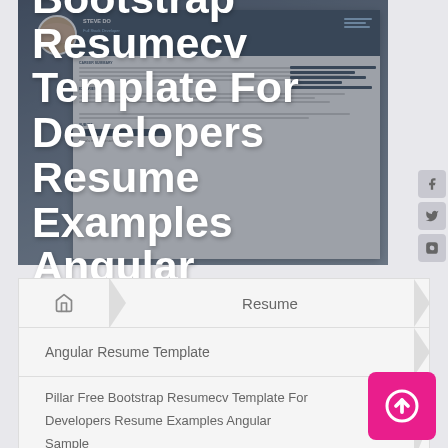[Figure (screenshot): Screenshot of a resume template preview showing a Bootstrap resume/CV template with a developer profile, overlaid with large white bold title text.]
Pillar Free Bootstrap Resumecv Template For Developers Resume Examples Angular Sample
Resume
Angular Resume Template
Pillar Free Bootstrap Resumecv Template For Developers Resume Examples Angular Sample